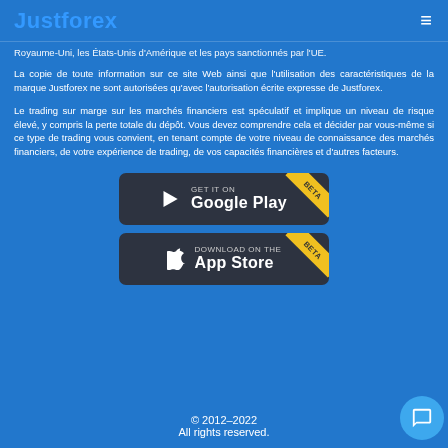Justforex
Royaume-Uni, les États-Unis d'Amérique et les pays sanctionnés par l'UE.
La copie de toute information sur ce site Web ainsi que l'utilisation des caractéristiques de la marque Justforex ne sont autorisées qu'avec l'autorisation écrite expresse de Justforex.
Le trading sur marge sur les marchés financiers est spéculatif et implique un niveau de risque élevé, y compris la perte totale du dépôt. Vous devez comprendre cela et décider par vous-même si ce type de trading vous convient, en tenant compte de votre niveau de connaissance des marchés financiers, de votre expérience de trading, de vos capacités financières et d'autres facteurs.
[Figure (other): GET IT ON Google Play button with BETA ribbon]
[Figure (other): Download on the App Store button with BETA ribbon]
© 2012–2022
All rights reserved.